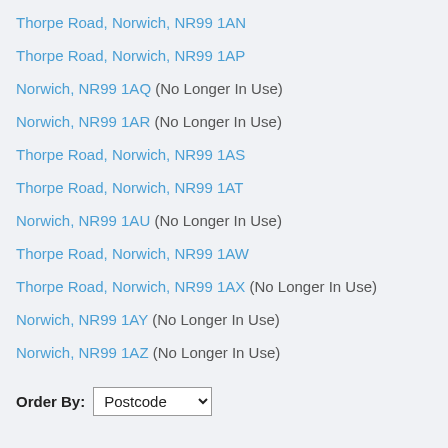Thorpe Road, Norwich, NR99 1AN
Thorpe Road, Norwich, NR99 1AP
Norwich, NR99 1AQ (No Longer In Use)
Norwich, NR99 1AR (No Longer In Use)
Thorpe Road, Norwich, NR99 1AS
Thorpe Road, Norwich, NR99 1AT
Norwich, NR99 1AU (No Longer In Use)
Thorpe Road, Norwich, NR99 1AW
Thorpe Road, Norwich, NR99 1AX (No Longer In Use)
Norwich, NR99 1AY (No Longer In Use)
Norwich, NR99 1AZ (No Longer In Use)
Order By: Postcode